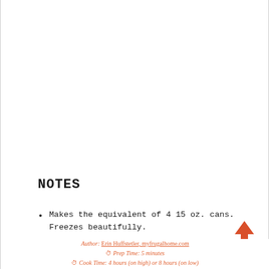NOTES
Makes the equivalent of 4 15 oz. cans. Freezes beautifully.
Author: Erin Huffstetler, myfrugalhome.com
⏱ Prep Time: 5 minutes
⏱ Cook Time: 4 hours (on high) or 8 hours (on low)